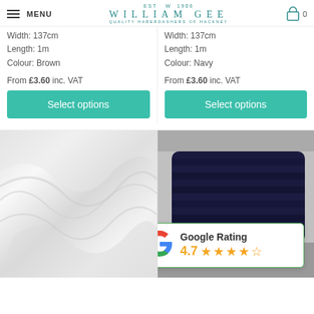MENU | WILLIAM GEE | QUALITY HABERDASHERS OF HACKNEY | 0
Width: 137cm
Length: 1m
Colour: Brown
Width: 137cm
Length: 1m
Colour: Navy
From £3.60 inc. VAT
From £3.60 inc. VAT
Select options
Select options
[Figure (photo): White fabric draped with soft folds]
[Figure (photo): Navy blue thread/yarn wound on a spool]
Google Rating
4.7 ★★★★☆